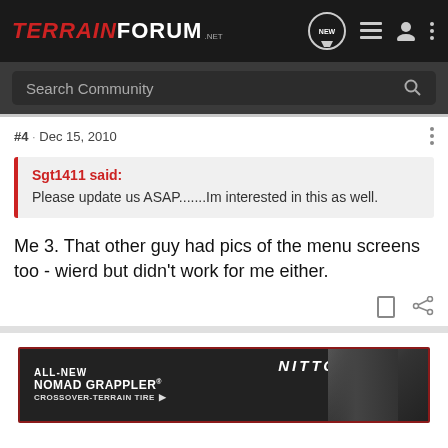TERRAINFORUM.NET
Search Community
#4 · Dec 15, 2010
Sgt1411 said: Please update us ASAP.......Im interested in this as well.
Me 3. That other guy had pics of the menu screens too - wierd but didn't work for me either.
[Figure (screenshot): Nitto ALL-NEW NOMAD GRAPPLER CROSSOVER-TERRAIN TIRE advertisement banner]